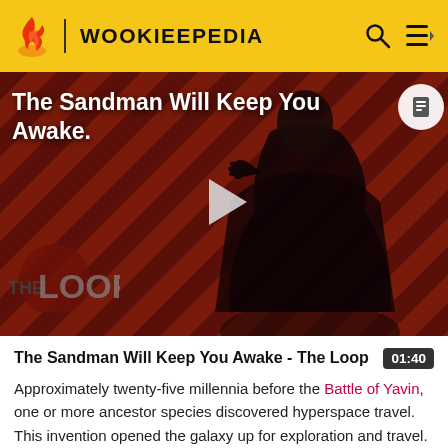WOOKIEEPEDIA
[Figure (screenshot): Video thumbnail showing a dark-robed figure against a red and black diagonal-striped background with THE LOOP watermark text. Title overlay reads 'The Sandman Will Keep You Awake.' with a play button in the center.]
The Sandman Will Keep You Awake - The Loop
Approximately twenty-five millennia before the Battle of Yavin, one or more ancestor species discovered hyperspace travel. This invention opened the galaxy up for exploration and travel.[7]